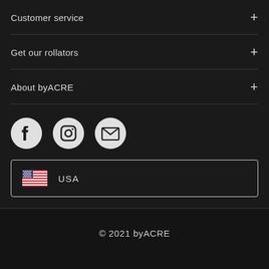Customer service +
Get our rollators +
About byACRE +
[Figure (other): Social media icons: Facebook, Instagram, Email/envelope]
USA
© 2021 byACRE